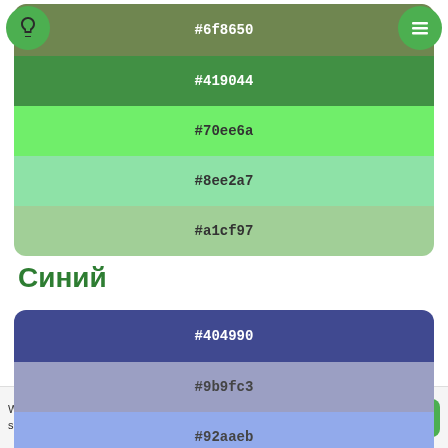[Figure (infographic): Color palette display showing green shades: #6f8650, #419044, #70ee6a, #8ee2a7, #a1cf97 with a lightbulb icon button and hamburger menu button]
Синий
[Figure (infographic): Color palette display showing blue shades: #404990, #9b9fc3, #92aaeb, #6264c5, #26397d]
We use cookies to give you the best experience. If you continue to use this site we assume that you are happy with it (privacy policy).